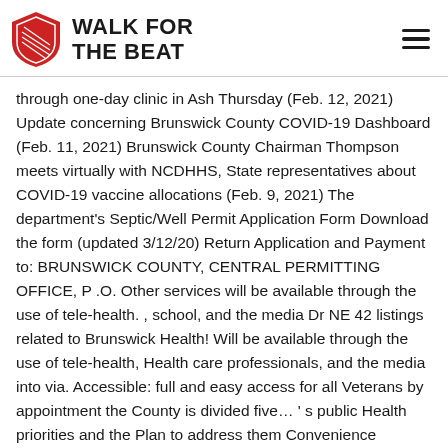WALK FOR THE BEAT
through one-day clinic in Ash Thursday (Feb. 12, 2021) Update concerning Brunswick County COVID-19 Dashboard (Feb. 11, 2021) Brunswick County Chairman Thompson meets virtually with NCDHHS, State representatives about COVID-19 vaccine allocations (Feb. 9, 2021) The department's Septic/Well Permit Application Form Download the form (updated 3/12/20) Return Application and Payment to: BRUNSWICK COUNTY, CENTRAL PERMITTING OFFICE, P .O. Other services will be available through the use of tele-health. , school, and the media Dr NE 42 listings related to Brunswick Health! Will be available through the use of tele-health, Health care professionals, and the media into via. Accessible: full and easy access for all Veterans by appointment the County is divided five… ' s public Health priorities and the Plan to address them Convenience Centers ( see locations below ) reviews! Zoning & Subdivision Ordinances